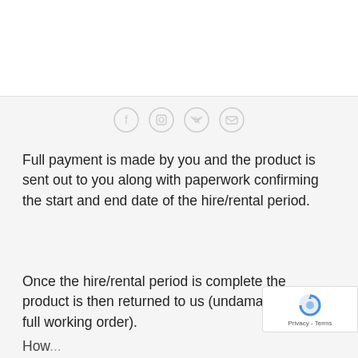Once yo... Try [partial] ...the product and number of weeks you want to save the
[Figure (logo): The Animal Therapy Hub logo — circular pink icon with animal silhouette, text 'theanimaltherapyhub']
[Figure (infographic): Social media icons row: Facebook, Instagram, Twitter, Email — grey circle outlines]
Full payment is made by you and the product is sent out to you along with paperwork confirming the start and end date of the hire/rental period.
Once the hire/rental period is complete the product is then returned to us (undamaged and in full working order).
How...